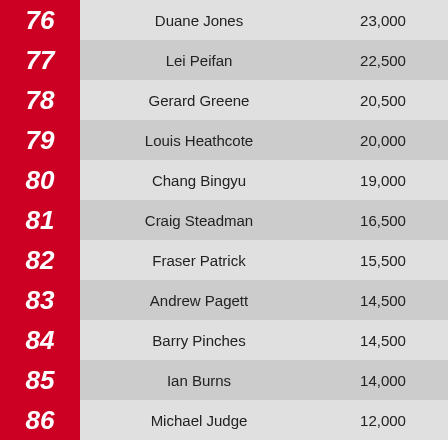| Rank | Name | Score |
| --- | --- | --- |
| 76 | Duane Jones | 23,000 |
| 77 | Lei Peifan | 22,500 |
| 78 | Gerard Greene | 20,500 |
| 79 | Louis Heathcote | 20,000 |
| 80 | Chang Bingyu | 19,000 |
| 81 | Craig Steadman | 16,500 |
| 82 | Fraser Patrick | 15,500 |
| 83 | Andrew Pagett | 14,500 |
| 84 | Barry Pinches | 14,500 |
| 85 | Ian Burns | 14,000 |
| 86 | Michael Judge | 12,000 |